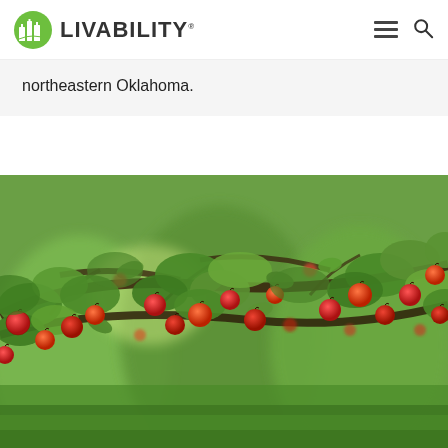LIVABILITY
northeastern Oklahoma.
[Figure (photo): Apple orchard with branches heavily laden with red apples among green leaves, with a blurred green background suggesting rows of apple trees.]